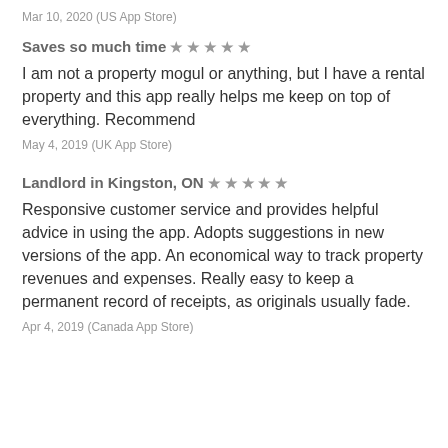Mar 10, 2020 (US App Store)
Saves so much time ★★★★★
I am not a property mogul or anything, but I have a rental property and this app really helps me keep on top of everything. Recommend
May 4, 2019 (UK App Store)
Landlord in Kingston, ON ★★★★★
Responsive customer service and provides helpful advice in using the app. Adopts suggestions in new versions of the app. An economical way to track property revenues and expenses. Really easy to keep a permanent record of receipts, as originals usually fade.
Apr 4, 2019 (Canada App Store)